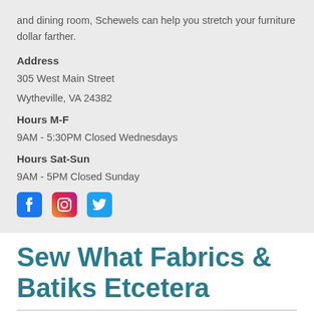and dining room, Schewels can help you stretch your furniture dollar farther.
Address
305 West Main Street
Wytheville, VA 24382
Hours M-F
9AM - 5:30PM Closed Wednesdays
Hours Sat-Sun
9AM - 5PM Closed Sunday
[Figure (illustration): Facebook, Instagram, and Twitter social media icons in a row]
Sew What Fabrics & Batiks Etcetera
[Figure (photo): Building exterior photo, partially visible at bottom of page]